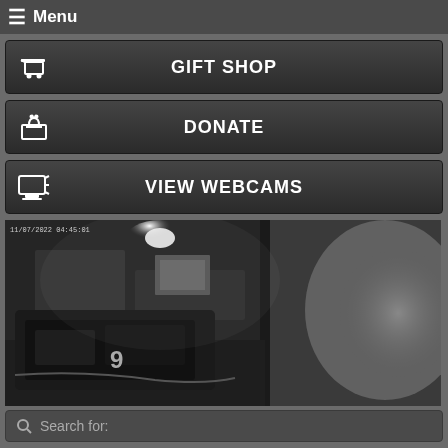≡ Menu
GIFT SHOP
DONATE
VIEW WEBCAMS
[Figure (screenshot): Night vision webcam image showing an indoor space with a large dark object (possibly equipment or vehicle) with number 9 visible, illuminated by a bright light source in the upper area. Image is in black and white/grayscale.]
Search for: